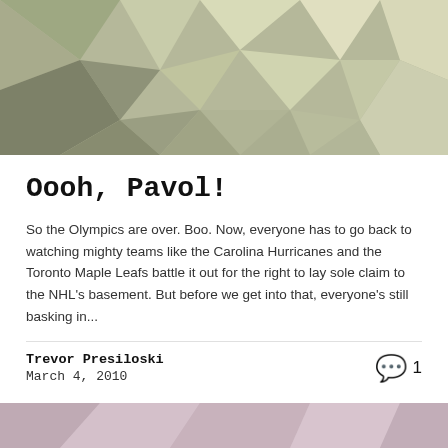[Figure (illustration): Abstract low-poly geometric background image in muted olive/sage green and beige tones]
Oooh, Pavol!
So the Olympics are over. Boo. Now, everyone has to go back to watching mighty teams like the Carolina Hurricanes and the Toronto Maple Leafs battle it out for the right to lay sole claim to the NHL's basement. But before we get into that, everyone's still basking in...
Trevor Presiloski
March 4, 2010
[Figure (illustration): Abstract low-poly geometric background image in muted mauve/dusty pink and light tones at the bottom of the page]